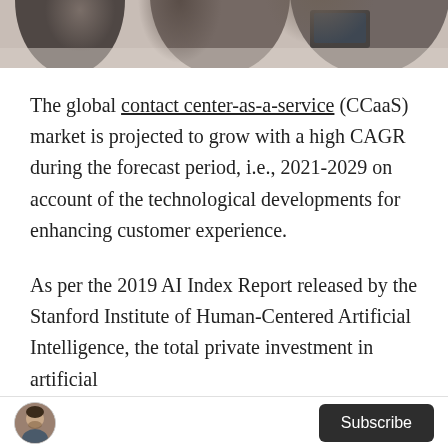[Figure (photo): Photo banner at top showing people at a desk/office setting, partially cropped]
The global contact center-as-a-service (CCaaS) market is projected to grow with a high CAGR during the forecast period, i.e., 2021-2029 on account of the technological developments for enhancing customer experience.
As per the 2019 AI Index Report released by the Stanford Institute of Human-Centered Artificial Intelligence, the total private investment in artificial
Subscribe